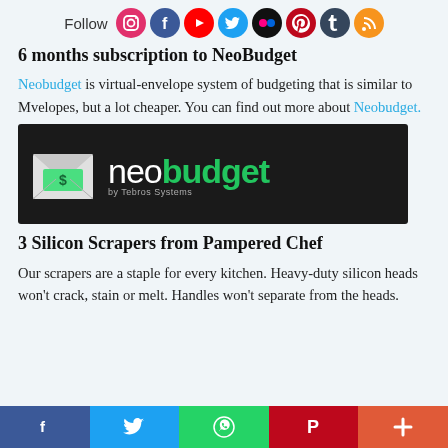[Figure (infographic): Social media follow bar with icons for Instagram, Facebook, YouTube, Twitter, Flickr, Pinterest, Tumblr, and RSS]
6 months subscription to NeoBudget
Neobudget is virtual-envelope system of budgeting that is similar to Mvelopes, but a lot cheaper. You can find out more about Neobudget.
[Figure (logo): NeoBudget logo on dark background — envelope icon with dollar bill, white 'neo' and green 'budget' text, 'by Tebros Systems' subtitle]
3 Silicon Scrapers from Pampered Chef
Our scrapers are a staple for every kitchen. Heavy-duty silicon heads won't crack, stain or melt. Handles won't separate from the heads.
[Figure (infographic): Social share bar with Facebook, Twitter, WhatsApp, Pinterest, and More buttons]